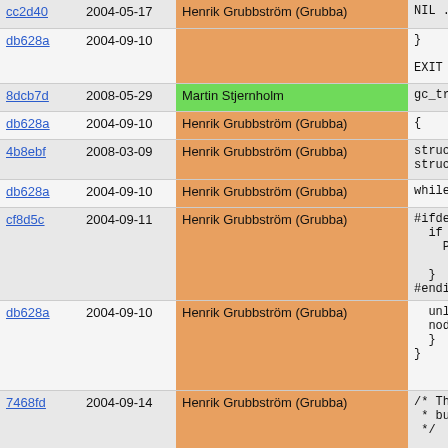| Hash | Date | Author | Code |
| --- | --- | --- | --- |
| cc2d40 | 2004-05-17 | Henrik Grubbström (Grubba) | NIL ... |
| db628a | 2004-09-10 | Henrik Grubbström (Grubba) | }

EXIT |
| 8dcb7d | 2008-05-29 | Martin Stjernholm | gc_triv: |
| db628a | 2004-09-10 | Henrik Grubbström (Grubba) | { |
| 4b8ebf | 2008-03-09 | Henrik Grubbström (Grubba) | struct p
struct p |
| db628a | 2004-09-10 | Henrik Grubbström (Grubba) | while (o |
| cf8d5c | 2004-09-11 | Henrik Grubbström (Grubba) | #ifdef PIKE_
  if (no
    Pike

  }
#endif /* PI |
| db628a | 2004-09-10 | Henrik Grubbström (Grubba) |   unlink
  node =
  }
} |
| 7468fd | 2004-09-14 | Henrik Grubbström (Grubba) | /* These t
 * but are
 */ |
| 4b8ebf | 2008-03-09 | Henrik Grubbström (Grubba) | static vo: |